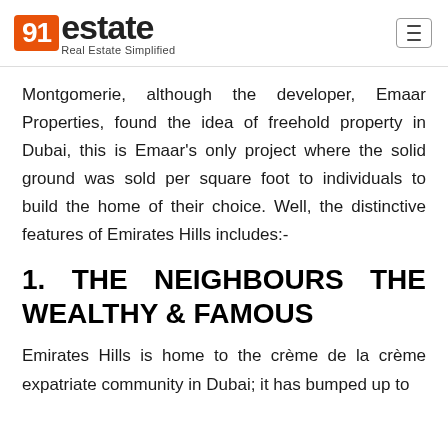91estate Real Estate Simplified
Montgomerie, although the developer, Emaar Properties, found the idea of freehold property in Dubai, this is Emaar's only project where the solid ground was sold per square foot to individuals to build the home of their choice. Well, the distinctive features of Emirates Hills includes:-
1. THE NEIGHBOURS THE WEALTHY & FAMOUS
Emirates Hills is home to the crème de la crème expatriate community in Dubai; it has bumped up to